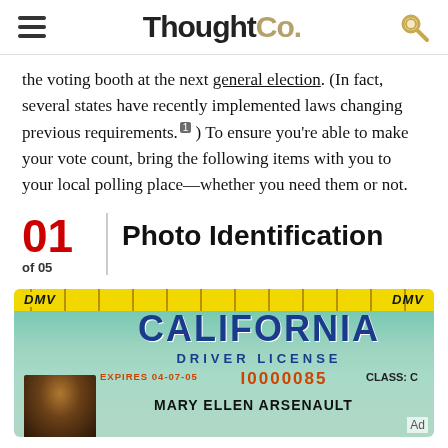ThoughtCo.
the voting booth at the next general election. (In fact, several states have recently implemented laws changing previous requirements.¹ ) To ensure you're able to make your vote count, bring the following items with you to your local polling place—whether you need them or not.
01 of 05 Photo Identification
[Figure (photo): California DMV Driver License for Mary Ellen Arsenault, license number I0000085, expires 04-07-05, Class C]